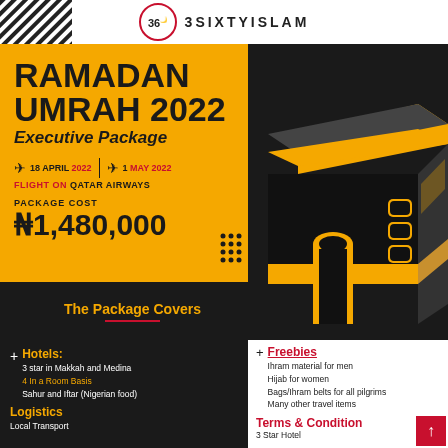3SIXTYISLAM
RAMADAN UMRAH 2022
Executive Package
18 APRIL 2022 | 1 MAY 2022
FLIGHT ON QATAR AIRWAYS
PACKAGE COST
₦1,480,000
The Package Covers
Hotels:
3 star in Makkah and Medina
4 In a Room Basis
Sahur and Iftar (Nigerian food)
Logistics
Local Transport
Freebies
Ihram material for men
Hijab for women
Bags/Ihram belts for all pilgrims
Many other travel items
Terms & Conditions
3 Star Hotel